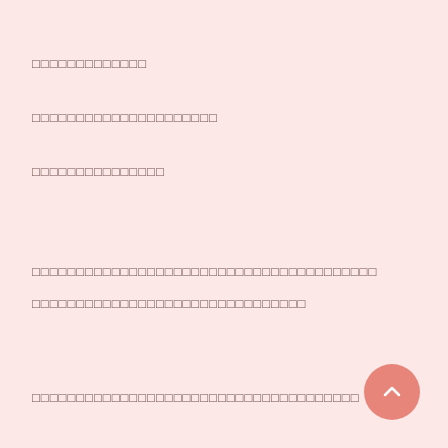□□□□□□□□□□□□□
□□□□□□□□□□□□□□□□□□□□□
□□□□□□□□□□□□□□□
□□□□□□□□□□□□□□□□□□□□□□□□□□□□□□□□□□□□□□□
□□□□□□□□□□□□□□□□□□□□□□□□□□□□□□□
□□□□□□□□□□□□□□□□□□□□□□□□□□□□□□□□□□□□□